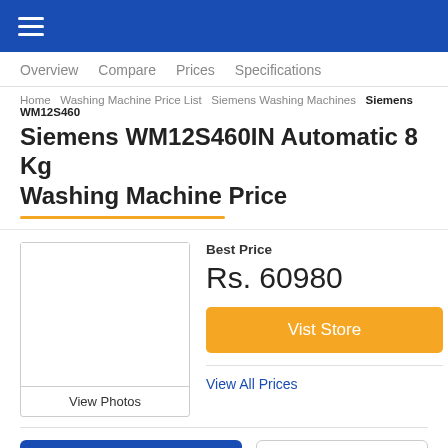≡ (hamburger menu)
Overview  Compare  Prices  Specifications
Home  Washing Machine Price List  Siemens Washing Machines  Siemens WM12S460
Siemens WM12S460IN Automatic 8 Kg Washing Machine Price
[Figure (photo): Product image placeholder box with 'View Photos' label at bottom]
Best Price
Rs. 60980
Vist Store
View All Prices
Compare
Price Drop Alert